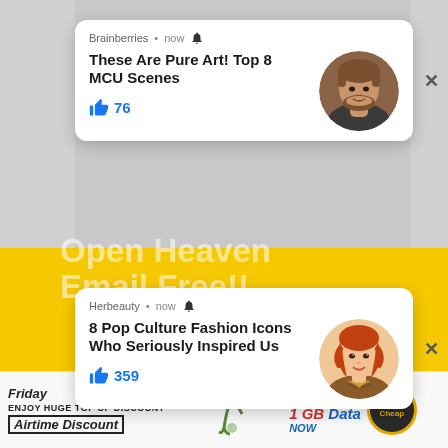[Figure (screenshot): Two browser push notification popups overlaid on a webpage. First notification from 'Brainberries • now' with title 'These Are Pure Art! Top 8 MCU Scenes', 76 likes, with a circular avatar photo of a man. Second notification from 'Herbeauty • now' with title '8 Pop Culture Fashion Icons Who Seriously Inspired Us', 359 likes, with a circular avatar photo of a woman. Behind the cards is a yellow background with ghosted text 'Open Heaven' and 'Email Free!!'. Below is an email subscription area with 'Email Address' input and 'Sign Me Up' dark pill button. At the bottom is an ad strip with 'Friday', 'ENJOY HUGE TOP UP DISCOUNT', 'Airtime Discount', '*SALE*', '1 GB Data', and 'PayCheap' badge.]